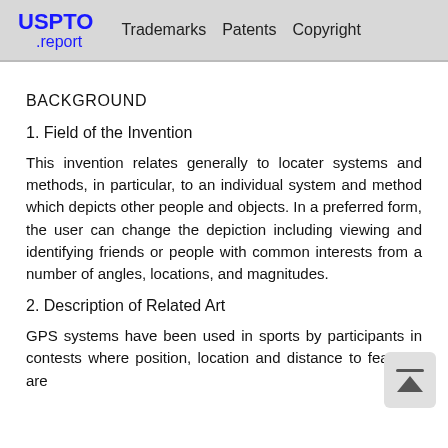USPTO .report  Trademarks  Patents  Copyright
BACKGROUND
1. Field of the Invention
This invention relates generally to locater systems and methods, in particular, to an individual system and method which depicts other people and objects. In a preferred form, the user can change the depiction including viewing and identifying friends or people with common interests from a number of angles, locations, and magnitudes.
2. Description of Related Art
GPS systems have been used in sports by participants in contests where position, location and distance to features are